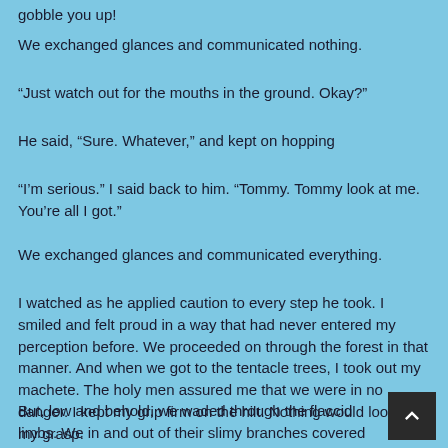gobble you up!
We exchanged glances and communicated nothing.
“Just watch out for the mouths in the ground. Okay?”
He said, “Sure. Whatever,” and kept on hopping
“I’m serious.” I said back to him. “Tommy. Tommy look at me. You’re all I got.”
We exchanged glances and communicated everything.
I watched as he applied caution to every step he took. I smiled and felt proud in a way that had never entered my perception before. We proceeded on through the forest in that manner. And when we got to the tentacle trees, I took out my machete. The holy men assured me that we were in no danger. I kept my grip firm on the hilt. Nothing would loosen my grasp.
But, low and behold, we waded through the flaccid limbs. We in and out of their slimy branches covered in suction cups. All appeared to be in dormant order. When I found a tree that had a